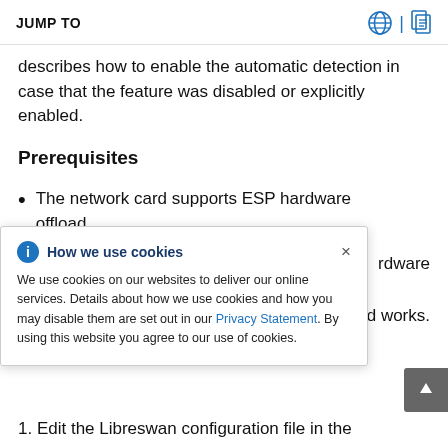JUMP TO
describes how to enable the automatic detection in case that the feature was disabled or explicitly enabled.
Prerequisites
The network card supports ESP hardware offload
[Figure (infographic): Cookie consent popup overlay with title 'How we use cookies', info icon, close button (×), and body text describing cookie usage with a Privacy Statement link.]
rdware (partial, behind popup)
nd works. (partial, behind popup)
1. Edit the Libreswan configuration file in the